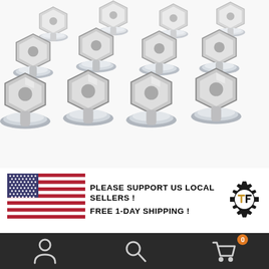[Figure (photo): Multiple chrome/silver lug nuts with flanged base, arranged in a group against white background]
[Figure (illustration): US flag illustration]
PLEASE SUPPORT US LOCAL SELLERS ! FREE 1-DAY SHIPPING !
[Figure (logo): TF brand logo — gear shape with TF letters inside]
[Figure (illustration): Bottom navigation bar with person icon, search icon, and shopping cart icon with badge showing 0]